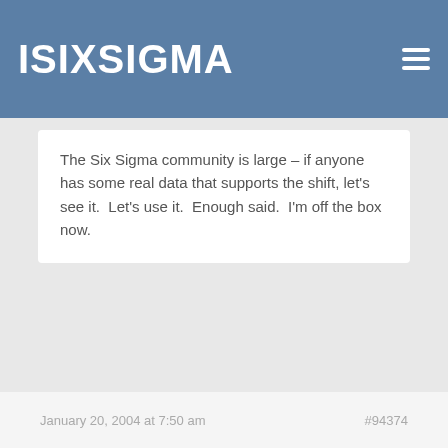ISIXSIGMA
The Six Sigma community is large – if anyone has some real data that supports the shift, let's see it.  Let's use it.  Enough said.  I'm off the box now.
January 20, 2004 at 7:50 am   #94374